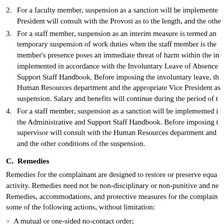2. For a faculty member, suspension as a sanction will be implemented... President will consult with the Provost as to the length, and the other...
3. For a staff member, suspension as an interim measure is termed an... temporary suspension of work duties when the staff member is the... member's presence poses an immediate threat of harm within the in... implemented in accordance with the Involuntary Leave of Absence... Support Staff Handbook. Before imposing the involuntary leave, th... Human Resources department and the appropriate Vice President as... suspension. Salary and benefits will continue during the period of t...
4. For a staff member, suspension as a sanction will be implemented i... the Administrative and Support Staff Handbook. Before imposing t... supervisor will consult with the Human Resources department and... and the other conditions of the suspension.
C.  Remedies
Remedies for the complainant are designed to restore or preserve equa... activity. Remedies need not be non-disciplinary or non-punitive and ne... Remedies, accommodations, and protective measures for the complain... some of the following actions, without limitation:
A mutual or one-sided no-contact order;
Prohibiting an individual and from being on TIT and its VM...